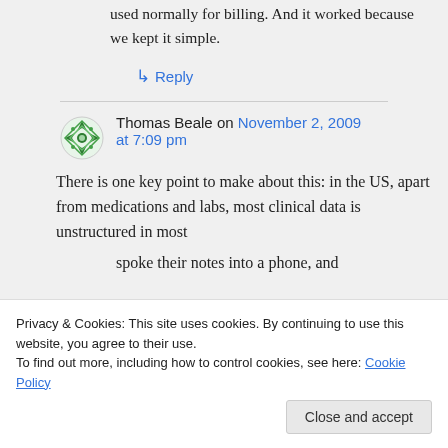used normally for billing. And it worked because we kept it simple.
↳ Reply
Thomas Beale on November 2, 2009 at 7:09 pm
There is one key point to make about this: in the US, apart from medications and labs, most clinical data is unstructured in most
Privacy & Cookies: This site uses cookies. By continuing to use this website, you agree to their use.
To find out more, including how to control cookies, see here: Cookie Policy
Close and accept
spoke their notes into a phone, and